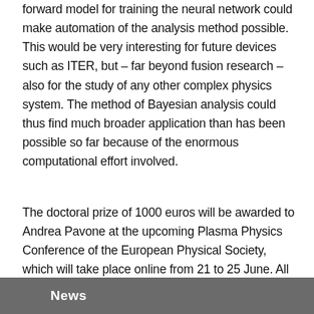forward model for training the neural network could make automation of the analysis method possible. This would be very interesting for future devices such as ITER, but – far beyond fusion research – also for the study of any other complex physics system. The method of Bayesian analysis could thus find much broader application than has been possible so far because of the enormous computational effort involved.
The doctoral prize of 1000 euros will be awarded to Andrea Pavone at the upcoming Plasma Physics Conference of the European Physical Society, which will take place online from 21 to 25 June. All award winners will present their work there in a lecture.
News